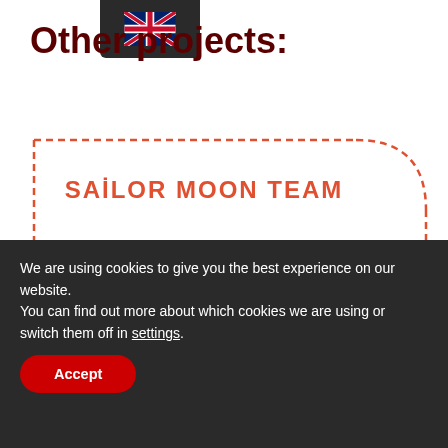Other projects:
SAİLOR MOON TEAM
[Figure (illustration): Light gray rectangular image placeholder inside a dashed red-orange rounded border card.]
We are using cookies to give you the best experience on our website.
You can find out more about which cookies we are using or switch them off in settings.
Accept